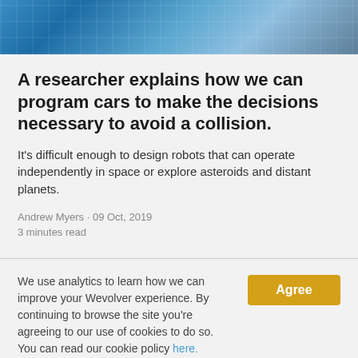[Figure (photo): Aerial photograph of highway interchange with cars and roads, blue tones]
A researcher explains how we can program cars to make the decisions necessary to avoid a collision.
It's difficult enough to design robots that can operate independently in space or explore asteroids and distant planets.
Andrew Myers · 09 Oct, 2019
3 minutes read
We use analytics to learn how we can improve your Wevolver experience. By continuing to browse the site you're agreeing to our use of cookies to do so. You can read our cookie policy here.